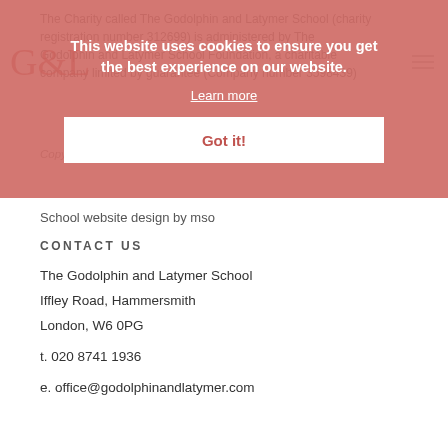The Charity called The Godolphin and Latymer School (charity registration number 312699) is administered by The Godolphin and Latymer School Foundation, a charitable company limited by guarantee (Company number 3598439)
This website uses cookies to ensure you get the best experience on our website.
Learn more
Got it!
Copyright © 2022 Godolphin & Latymer School
School website design by mso
CONTACT US
The Godolphin and Latymer School
Iffley Road, Hammersmith
London, W6 0PG
t. 020 8741 1936
e. office@godolphinandlatymer.com